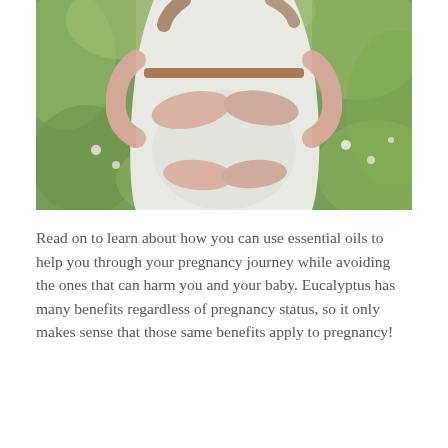[Figure (photo): A pregnant woman in a white lace dress with a thin brown belt, standing outdoors in a green garden setting, cradling her baby bump with both hands. Her face is not visible, only her torso and arms.]
Read on to learn about how you can use essential oils to help you through your pregnancy journey while avoiding the ones that can harm you and your baby. Eucalyptus has many benefits regardless of pregnancy status, so it only makes sense that those same benefits apply to pregnancy!